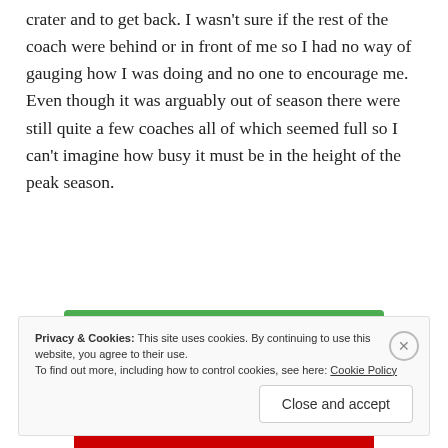crater and to get back. I wasn't sure if the rest of the coach were behind or in front of me so I had no way of gauging how I was doing and no one to encourage me. Even though it was arguably out of season there were still quite a few coaches all of which seemed full so I can't imagine how busy it must be in the height of the peak season.
[Figure (other): Jetpack advertisement banner with green background, Jetpack logo with lightning bolt icon, and 'Back up your site' button]
Privacy & Cookies: This site uses cookies. By continuing to use this website, you agree to their use. To find out more, including how to control cookies, see here: Cookie Policy